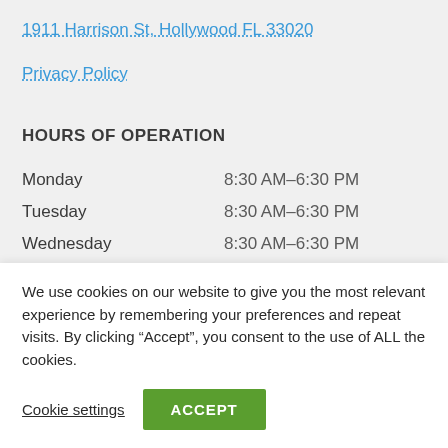1911 Harrison St, Hollywood FL 33020
Privacy Policy
HOURS OF OPERATION
| Day | Hours |
| --- | --- |
| Monday | 8:30 AM–6:30 PM |
| Tuesday | 8:30 AM–6:30 PM |
| Wednesday | 8:30 AM–6:30 PM |
We use cookies on our website to give you the most relevant experience by remembering your preferences and repeat visits. By clicking “Accept”, you consent to the use of ALL the cookies.
Cookie settings
ACCEPT